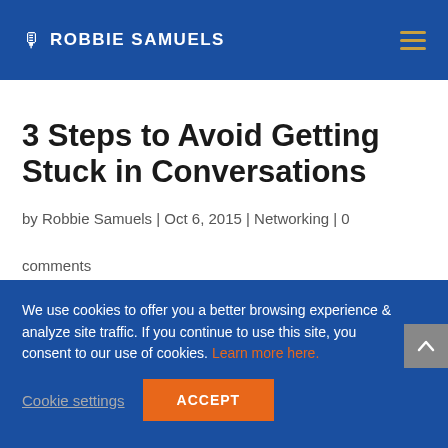ROBBIE SAMUELS
3 Steps to Avoid Getting Stuck in Conversations
by Robbie Samuels | Oct 6, 2015 | Networking | 0 comments
We use cookies to offer you a better browsing experience & analyze site traffic. If you continue to use this site, you consent to our use of cookies. Learn more here.
Cookie settings  ACCEPT